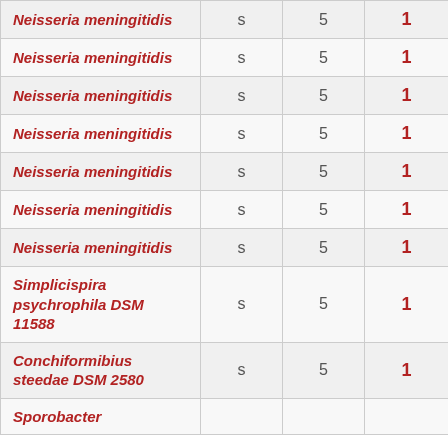| Neisseria meningitidis | s | 5 | 1 |
| Neisseria meningitidis | s | 5 | 1 |
| Neisseria meningitidis | s | 5 | 1 |
| Neisseria meningitidis | s | 5 | 1 |
| Neisseria meningitidis | s | 5 | 1 |
| Neisseria meningitidis | s | 5 | 1 |
| Neisseria meningitidis | s | 5 | 1 |
| Simplicispira psychrophila DSM 11588 | s | 5 | 1 |
| Conchiformibius steedae DSM 2580 | s | 5 | 1 |
| Sporobacter |  |  |  |